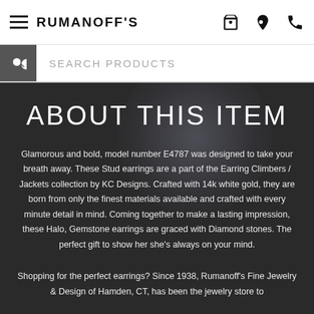RUMANOFF'S
SEARCH PRODUCTS
ABOUT THIS ITEM
Glamorous and bold, model number E4787 was designed to take your breath away. These Stud earrings are a part of the Earring Climbers / Jackets collection by KC Designs. Crafted with 14k white gold, they are born from only the finest materials available and crafted with every minute detail in mind. Coming together to make a lasting impression, these Halo, Gemstone earrings are graced with Diamond stones. The perfect gift to show her she's always on your mind.
Shopping for the perfect earrings? Since 1938, Rumanoff's Fine Jewelry & Design of Hamden, CT, has been the jewelry store to